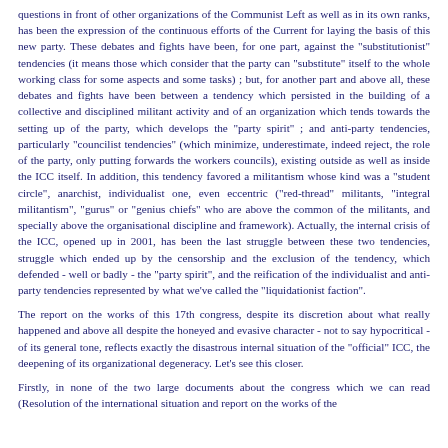questions in front of other organizations of the Communist Left as well as in its own ranks, has been the expression of the continuous efforts of the Current for laying the basis of this new party. These debates and fights have been, for one part, against the "substitutionist" tendencies (it means those which consider that the party can "substitute" itself to the whole working class for some aspects and some tasks) ; but, for another part and above all, these debates and fights have been between a tendency which persisted in the building of a collective and disciplined militant activity and of an organization which tends towards the setting up of the party, which develops the "party spirit" ; and anti-party tendencies, particularly "councilist tendencies" (which minimize, underestimate, indeed reject, the role of the party, only putting forwards the workers councils), existing outside as well as inside the ICC itself. In addition, this tendency favored a militantism whose kind was a "student circle", anarchist, individualist one, even eccentric ("red-thread" militants, "integral militantism", "gurus" or "genius chiefs" who are above the common of the militants, and specially above the organisational discipline and framework). Actually, the internal crisis of the ICC, opened up in 2001, has been the last struggle between these two tendencies, struggle which ended up by the censorship and the exclusion of the tendency, which defended - well or badly - the "party spirit", and the reification of the individualist and anti-party tendencies represented by what we've called the "liquidationist faction".
The report on the works of this 17th congress, despite its discretion about what really happened and above all despite the honeyed and evasive character - not to say hypocritical - of its general tone, reflects exactly the disastrous internal situation of the "official" ICC, the deepening of its organizational degeneracy. Let's see this closer.
Firstly, in none of the two large documents about the congress which we can read (Resolution of the international situation and report on the works of the